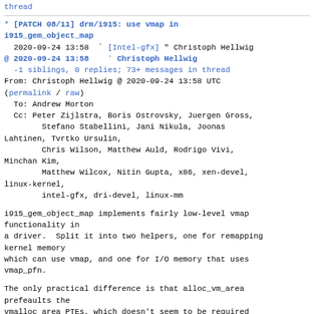thread
* [PATCH 08/11] drm/i915: use vmap in i915_gem_object_map
  2020-09-24 13:58  ` [Intel-gfx] " Christoph Hellwig
@ 2020-09-24 13:58    ` Christoph Hellwig
  -1 siblings, 0 replies; 73+ messages in thread
From: Christoph Hellwig @ 2020-09-24 13:58 UTC
(permalink / raw)
  To: Andrew Morton
  Cc: Peter Zijlstra, Boris Ostrovsky, Juergen Gross,
          Stefano Stabellini, Jani Nikula, Joonas Lahtinen, Tvrtko Ursulin,
          Chris Wilson, Matthew Auld, Rodrigo Vivi, Minchan Kim,
          Matthew Wilcox, Nitin Gupta, x86, xen-devel, linux-kernel,
          intel-gfx, dri-devel, linux-mm
i915_gem_object_map implements fairly low-level vmap functionality in
a driver.  Split it into two helpers, one for remapping kernel memory
which can use vmap, and one for I/O memory that uses vmap_pfn.
The only practical difference is that alloc_vm_area prefeaults the
vmalloc area PTEs, which doesn't seem to be required
here for the...